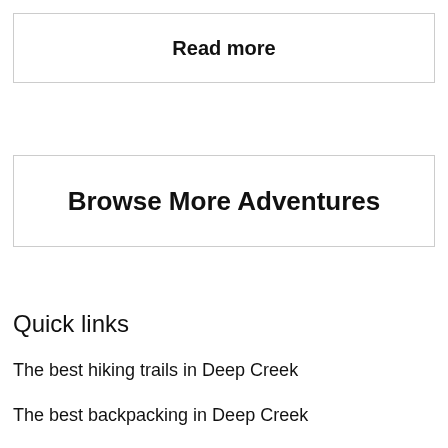Read more
Browse More Adventures
Quick links
The best hiking trails in Deep Creek
The best backpacking in Deep Creek